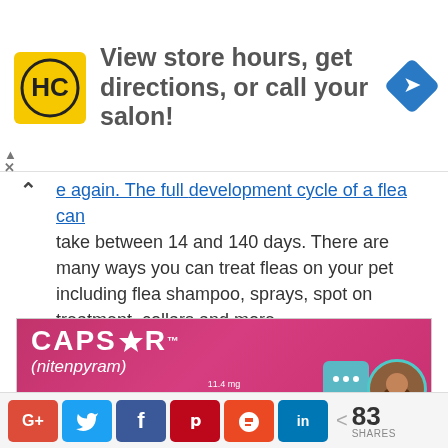[Figure (infographic): Advertisement banner: HC (Hair Club) logo on yellow square, text 'View store hours, get directions, or call your salon!', blue diamond arrow icon on right]
e again. The full development cycle of a flea can take between 14 and 140 days. There are many ways you can treat fleas on your pet including flea shampoo, sprays, spot on treatment, collars and more.
[Figure (photo): Capstar (nitenpyram) 11.4 mg product advertisement image on pink/magenta background with a cat, three circular icons at bottom, a teal three-dot button, and a circular avatar of a woman]
[Figure (infographic): Social sharing bar with G+, Twitter, Facebook, Pinterest, Stumbleupon, LinkedIn buttons and share count of 83 SHARES]